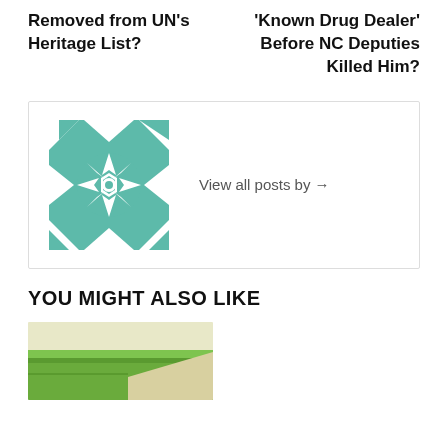Removed from UN's Heritage List?
'Known Drug Dealer' Before NC Deputies Killed Him?
[Figure (illustration): Teal and white geometric quilt pattern square avatar]
View all posts by →
YOU MIGHT ALSO LIKE
[Figure (photo): Outdoor photo showing green grass and a light-colored surface, partially visible]